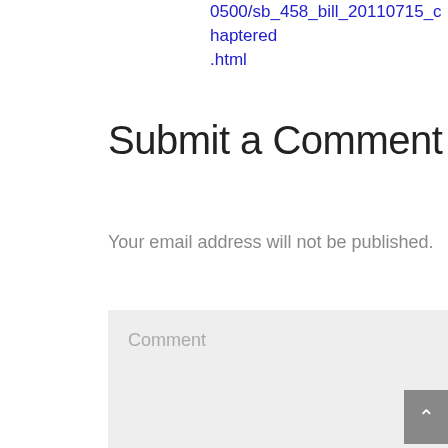0500/sb_458_bill_20110715_chaptered.html
Submit a Comment
Your email address will not be published.
Comment